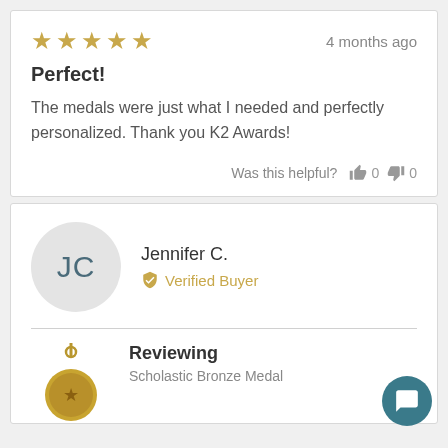★★★★★  4 months ago
Perfect!
The medals were just what I needed and perfectly personalized. Thank you K2 Awards!
Was this helpful? 👍 0 👎 0
JC
Jennifer C.
Verified Buyer
Reviewing
Scholastic Bronze Medal